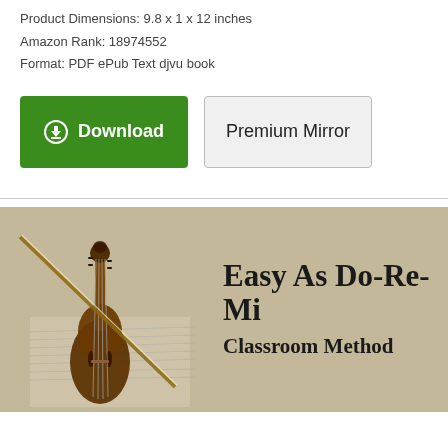Product Dimensions: 9.8 x 1 x 12 inches
Amazon Rank: 18974552
Format: PDF ePub Text djvu book
[Figure (illustration): Green Download button with circle-arrow icon and gray Premium Mirror button]
[Figure (illustration): Book cover image: Easy As Do-Re-Mi Classroom Method, showing a cello on a tan/beige background with sheet music]